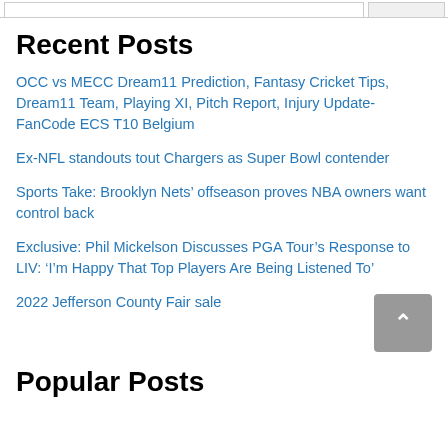[search bar and button]
Recent Posts
OCC vs MECC Dream11 Prediction, Fantasy Cricket Tips, Dream11 Team, Playing XI, Pitch Report, Injury Update- FanCode ECS T10 Belgium
Ex-NFL standouts tout Chargers as Super Bowl contender
Sports Take: Brooklyn Nets’ offseason proves NBA owners want control back
Exclusive: Phil Mickelson Discusses PGA Tour’s Response to LIV: ‘I’m Happy That Top Players Are Being Listened To’
2022 Jefferson County Fair sale
Popular Posts